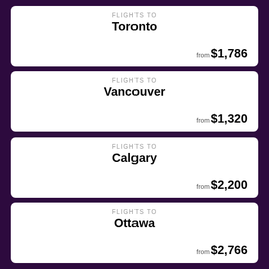FLIGHTS TO Toronto from $1,786
FLIGHTS TO Vancouver from $1,320
FLIGHTS TO Calgary from $2,200
FLIGHTS TO Ottawa from $2,766